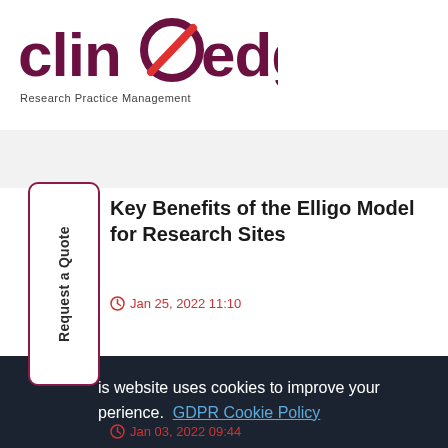[Figure (logo): Clinedge logo with red circle/slash design replacing the 'o', dark maroon text, with tagline 'Research Practice Management']
Key Benefits of the Elligo Model for Research Sites
Jan 25, 2022 11:10
is website uses cookies to improve your perience.  GDPR Cookie Policy
Got it!
Jan 03, 2022 09:44